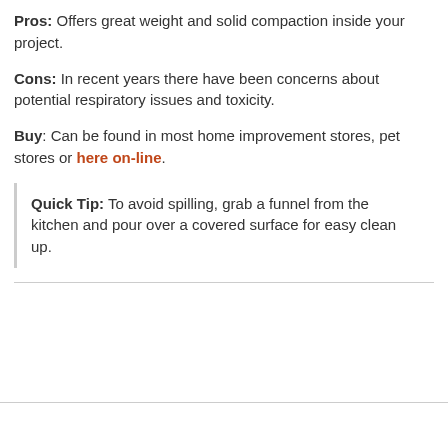Pros: Offers great weight and solid compaction inside your project.
Cons: In recent years there have been concerns about potential respiratory issues and toxicity.
Buy: Can be found in most home improvement stores, pet stores or here on-line.
Quick Tip: To avoid spilling, grab a funnel from the kitchen and pour over a covered surface for easy clean up.